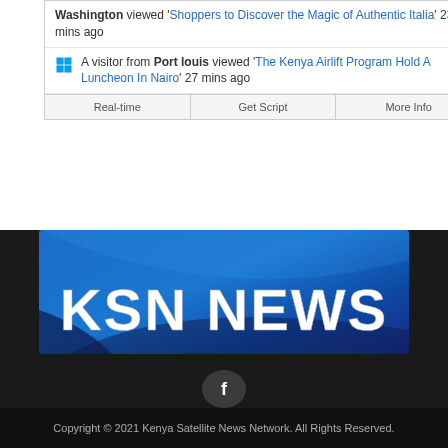Washington viewed 'Shoppers to Discover the Magic of Authentic Italia' 23 mins ago
A visitor from Port louis viewed 'The Kenya Airlift Program Hold A Luncheon In Nairo' 27 mins ago
Real-time | Get Script | More Info
[Figure (logo): KSN NEWS logo banner on blue gradient background]
[Figure (illustration): Facebook icon circle button]
Copyright © 2021 Kenya Satellite News Network. All Rights Reserved.